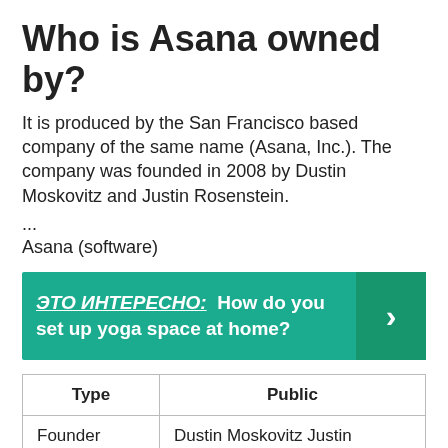Who is Asana owned by?
It is produced by the San Francisco based company of the same name (Asana, Inc.). The company was founded in 2008 by Dustin Moskovitz and Justin Rosenstein.
...
Asana (software)
[Figure (infographic): Teal/green promotional banner with Russian label 'ЭТО ИНТЕРЕСНО:' and text 'How do you set up yoga space at home?' with a right-arrow chevron button on the right side.]
| Type | Public |
| --- | --- |
| Founder | Dustin Moskovitz Justin Rosenstein |